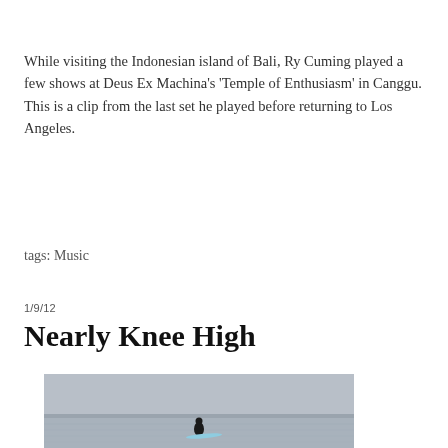While visiting the Indonesian island of Bali, Ry Cuming played a few shows at Deus Ex Machina's 'Temple of Enthusiasm' in Canggu. This is a clip from the last set he played before returning to Los Angeles.
tags: Music
1/9/12
Nearly Knee High
[Figure (photo): A surfer sitting on a surfboard in shallow, calm ocean water, viewed from behind, with a light blue surfboard visible, overcast grey sky and flat horizon in the background.]